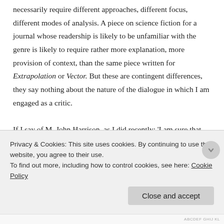necessarily require different approaches, different focus, different modes of analysis. A piece on science fiction for a journal whose readership is likely to be unfamiliar with the genre is likely to require rather more explanation, more provision of context, than the same piece written for Extrapolation or Vector. But these are contingent differences, they say nothing about the nature of the dialogue in which I am engaged as a critic.

If I say of M. John Harrison, as I did recently: 'I am sure that Harrison was inspired by the mad genius of William Blake, but his aesthetic is entirely other, his refrain is the glory of decay, defeat and failure, the
Privacy & Cookies: This site uses cookies. By continuing to use this website, you agree to their use.
To find out more, including how to control cookies, see here: Cookie Policy
Close and accept